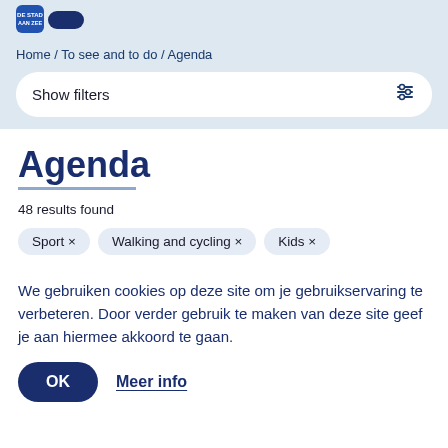[Figure (logo): City logo with text 'DE STAD AAN ZEE' in dark blue]
Home / To see and to do / Agenda
Show filters
Agenda
48 results found
Sport ×
Walking and cycling ×
Kids ×
We gebruiken cookies op deze site om je gebruikservaring te verbeteren. Door verder gebruik te maken van deze site geef je aan hiermee akkoord te gaan.
OK
Meer info